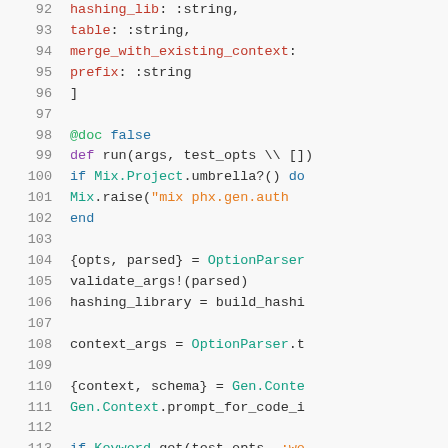[Figure (screenshot): Code editor screenshot showing Elixir source code lines 92–113. The editor has a light background with syntax highlighting. Line numbers are shown in gray on the left. Keywords like 'def', 'do', 'end' are in purple/blue. Module names like 'Mix.Project', 'OptionParser', 'Gen.Context' are in teal/blue. String atoms like ':string' are in red. @doc directive is in green.]